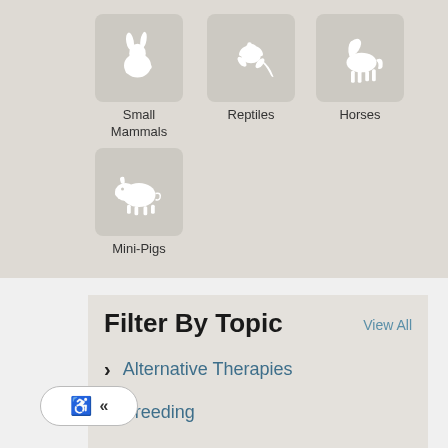[Figure (illustration): Animal category icons grid showing Small Mammals (rabbit icon), Reptiles (lizard icon), Horses (horse icon), and Mini-Pigs (pig icon) on a light beige background]
Filter By Topic
View All
Alternative Therapies
Breeding
Behavior